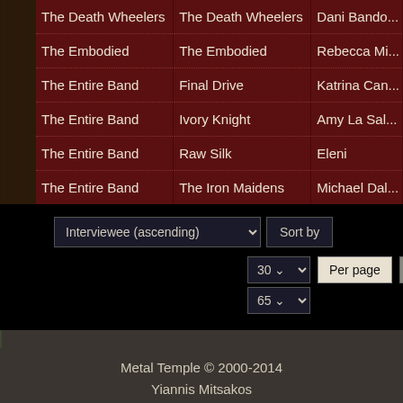|  |  |  |
| --- | --- | --- |
| The Death Wheelers | The Death Wheelers | Dani Bando... |
| The Embodied | The Embodied | Rebecca Mi... |
| The Entire Band | Final Drive | Katrina Can... |
| The Entire Band | Ivory Knight | Amy La Sal... |
| The Entire Band | Raw Silk | Eleni |
| The Entire Band | The Iron Maidens | Michael Dal... |
Interviewee (ascending) | Sort by | 30 | Per page | First « | 65
Metal Temple © 2000-2014
Yiannis Mitsakos

Designed, Implemented and Hosted by PC Green